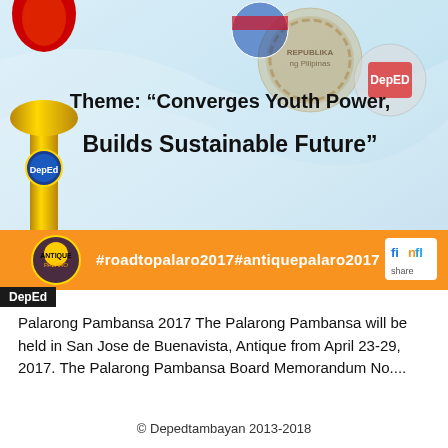[Figure (illustration): Palarong Pambansa 2017 event banner showing theme text 'Converges Youth Power, Builds Sustainable Future' with torch graphic on the left, Philippine government logos, DepEd logo on the right, and an orange bar at the bottom with hashtags #roadtopalaro2017#antiquepalaro2017 and social media icons]
DepEd
Palarong Pambansa 2017 The Palarong Pambansa will be held in San Jose de Buenavista, Antique from April 23-29, 2017. The Palarong Pambansa Board Memorandum No....
© Depedtambayan 2013-2018